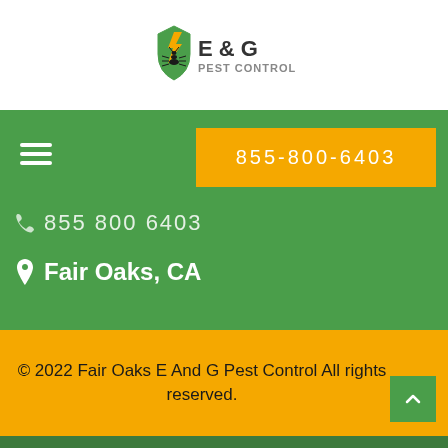[Figure (logo): E & G Pest Control logo with shield and lightning bolt on white background]
855-800-6403
855 800 6403
Fair Oaks, CA
© 2022 Fair Oaks E And G Pest Control All rights reserved.
Call for Quick and Reliable Service
855-800-6403